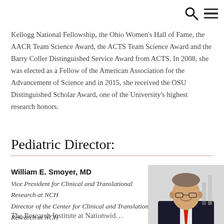[search icon] [menu icon]
Kellogg National Fellowship, the Ohio Women's Hall of Fame, the AACR Team Science Award, the ACTS Team Science Award and the Barry Coller Distinguished Service Award from ACTS. In 2008, she was elected as a Fellow of the American Association for the Advancement of Science and in 2015, she received the OSU Distinguished Scholar Award, one of the University's highest research honors.
Pediatric Director:
William E. Smoyer, MD
Vice President for Clinical and Translational Research at NCH
Director of the Center for Clinical and Translational Research at NCH
[Figure (photo): Portrait photograph of William E. Smoyer, MD, a man in a dark suit with a red tie, wearing glasses, smiling, against a light background.]
The Research Institute at Nationwid...